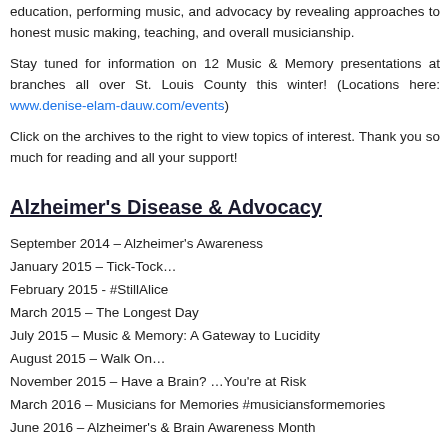education, performing music, and advocacy by revealing approaches to honest music making, teaching, and overall musicianship.
Stay tuned for information on 12 Music & Memory presentations at branches all over St. Louis County this winter! (Locations here: www.denise-elam-dauw.com/events)
Click on the archives to the right to view topics of interest. Thank you so much for reading and all your support!
Alzheimer's Disease & Advocacy
September 2014 – Alzheimer's Awareness
January 2015 – Tick-Tock…
February 2015 - #StillAlice
March 2015 – The Longest Day
July 2015 – Music & Memory: A Gateway to Lucidity
August 2015 – Walk On…
November 2015 – Have a Brain? …You're at Risk
March 2016 – Musicians for Memories #musiciansformemories
June 2016 – Alzheimer's & Brain Awareness Month